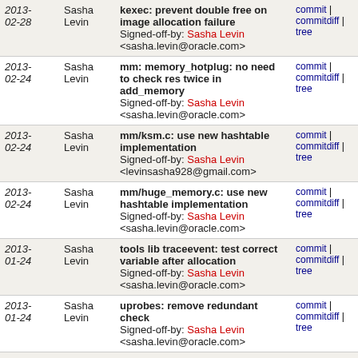| Date | Author | Commit Message | Links |
| --- | --- | --- | --- |
| 2013-02-28 | Sasha Levin | kexec: prevent double free on image allocation failure
Signed-off-by: Sasha Levin <sasha.levin@oracle.com> | commit | commitdiff | tree |
| 2013-02-24 | Sasha Levin | mm: memory_hotplug: no need to check res twice in add_memory
Signed-off-by: Sasha Levin <sasha.levin@oracle.com> | commit | commitdiff | tree |
| 2013-02-24 | Sasha Levin | mm/ksm.c: use new hashtable implementation
Signed-off-by: Sasha Levin <levinsasha928@gmail.com> | commit | commitdiff | tree |
| 2013-02-24 | Sasha Levin | mm/huge_memory.c: use new hashtable implementation
Signed-off-by: Sasha Levin <sasha.levin@oracle.com> | commit | commitdiff | tree |
| 2013-01-24 | Sasha Levin | tools lib traceevent: test correct variable after allocation
Signed-off-by: Sasha Levin <sasha.levin@oracle.com> | commit | commitdiff | tree |
| 2013-01-24 | Sasha Levin | uprobes: remove redundant check
Signed-off-by: Sasha Levin <sasha.levin@oracle.com> | commit | commitdiff | tree |
| 2013-01-24 | Sasha Levin | perf script: use ARRAY_SIZE instead of reinventing it
Signed-off-by: Sasha Levin <sasha.levin@oracle.com> | commit | commitdiff | tree |
| 2013-01-24 | Sasha Levin | perf kmem: use ARRAY_SIZE instead of reinventing it | commit | commitdiff | tree |